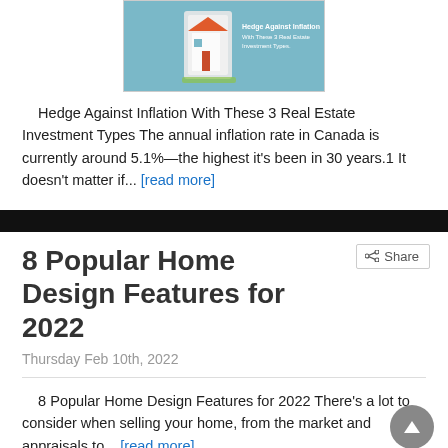[Figure (illustration): A real estate investment themed image with a house icon on a light blue background with text about investment types]
Hedge Against Inflation With These 3 Real Estate Investment Types The annual inflation rate in Canada is currently around 5.1%—the highest it's been in 30 years.1 It doesn't matter if... [read more]
8 Popular Home Design Features for 2022
Thursday Feb 10th, 2022
8 Popular Home Design Features for 2022 There's a lot to consider when selling your home, from the market and appraisals to... [read more]